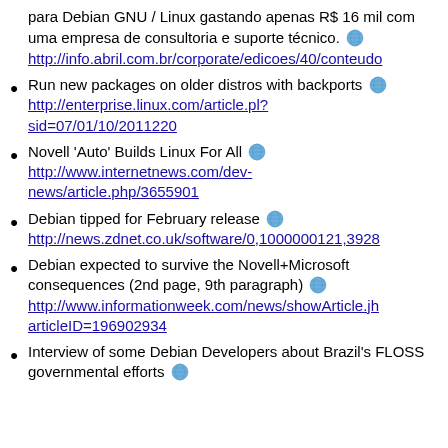para Debian GNU / Linux gastando apenas R$ 16 mil com uma empresa de consultoria e suporte técnico. http://info.abril.com.br/corporate/edicoes/40/conteudo
Run new packages on older distros with backports http://enterprise.linux.com/article.pl?sid=07/01/10/2011220
Novell 'Auto' Builds Linux For All http://www.internetnews.com/dev-news/article.php/3655901
Debian tipped for February release http://news.zdnet.co.uk/software/0,1000000121,3928
Debian expected to survive the Novell+Microsoft consequences (2nd page, 9th paragraph) http://www.informationweek.com/news/showArticle.jh articleID=196902934
Interview of some Debian Developers about Brazil's FLOSS governmental efforts